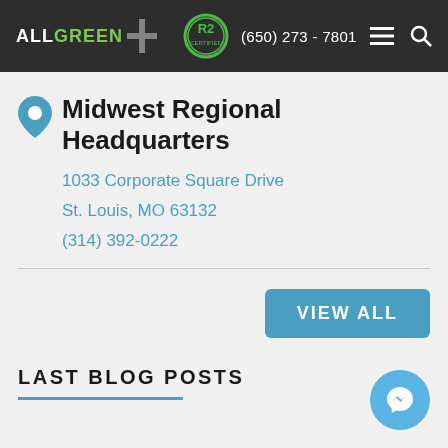ALL GREEN | R2 | (650) 273 - 7801
Midwest Regional Headquarters
1033 Corporate Square Drive
St. Louis, MO 63132
(314) 392-0222
VIEW ALL
LAST BLOG POSTS